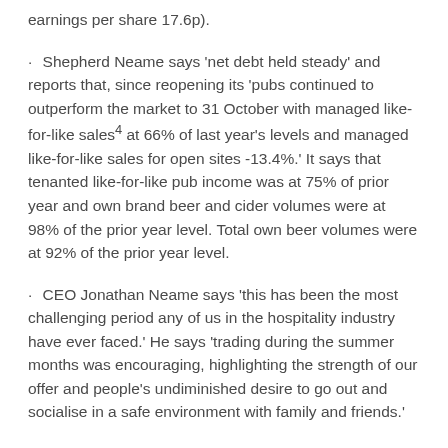earnings per share 17.6p).
Shepherd Neame says 'net debt held steady' and reports that, since reopening its 'pubs continued to outperform the market to 31 October with managed like-for-like sales4 at 66% of last year's levels and managed like-for-like sales for open sites -13.4%.' It says that tenanted like-for-like pub income was at 75% of prior year and own brand beer and cider volumes were at 98% of the prior year level. Total own beer volumes were at 92% of the prior year level.
CEO Jonathan Neame says 'this has been the most challenging period any of us in the hospitality industry have ever faced.' He says 'trading during the summer months was encouraging, highlighting the strength of our offer and people's undiminished desire to go out and socialise in a safe environment with family and friends.'